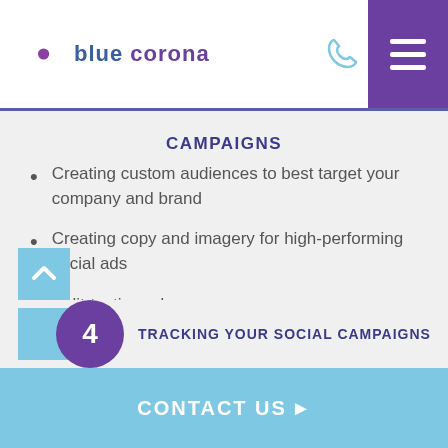[Figure (logo): Blue Corona logo with crescent moon and dot icon, company name in blue/purple text]
CAMPAIGNS
Creating custom audiences to best target your company and brand
Creating copy and imagery for high-performing social ads
Split-testing ad copy
Reporting and improving paid social ads
4 TRACKING YOUR SOCIAL CAMPAIGNS
CONTACT US ▶